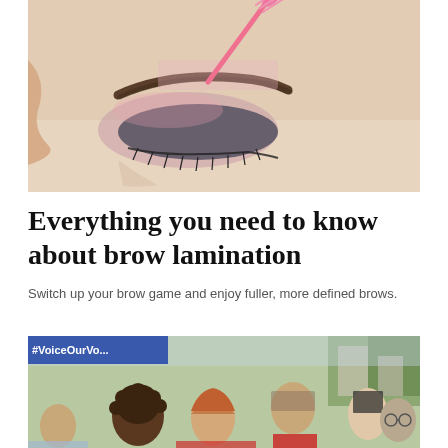[Figure (photo): Close-up photo of a person's eye area with a shaped eyebrow being groomed with a pink spoolie brush held by a hand]
Everything you need to know about brow lamination
Switch up your brow game and enjoy fuller, more defined brows.
[Figure (photo): Outdoor photo of a crowd of young people, with a banner visible in the upper left reading #VoiceOurVo...]